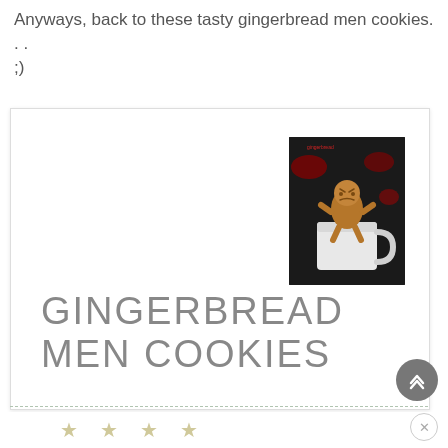Anyways, back to these tasty gingerbread men cookies... ;)
[Figure (photo): A gingerbread man cookie sitting in a white mug against a dark background with red decorations. The cookie appears to have a grumpy face.]
GINGERBREAD MEN COOKIES